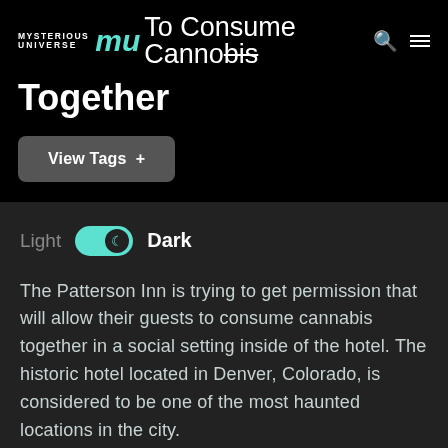Mysterious Universe — To Consume Cannabis Together
[Figure (screenshot): Website navigation bar with Mysterious Universe logo (MU), title text 'To Consume Cannabis Together', search icon, and hamburger menu icon]
To Consume Cannabis Together
View Tags +
Light  Dark (dark mode toggle switch shown active)
The Patterson Inn is trying to get permission that will allow their guests to consume cannabis together in a social setting inside of the hotel. The historic hotel located in Denver, Colorado, is considered to be one of the most haunted locations in the city.